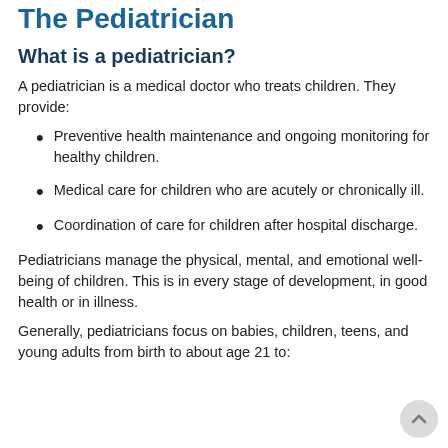The Pediatrician
What is a pediatrician?
A pediatrician is a medical doctor who treats children. They provide:
Preventive health maintenance and ongoing monitoring for healthy children.
Medical care for children who are acutely or chronically ill.
Coordination of care for children after hospital discharge.
Pediatricians manage the physical, mental, and emotional well-being of children. This is in every stage of development, in good health or in illness.
Generally, pediatricians focus on babies, children, teens, and young adults from birth to about age 21 to: